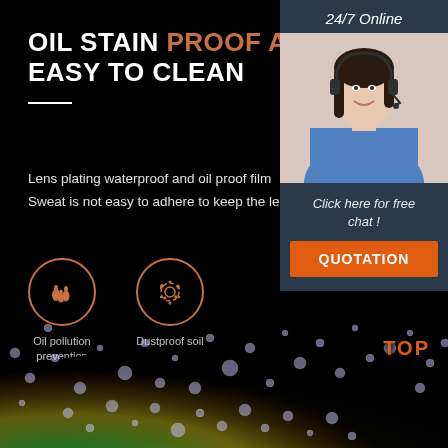OIL STAIN PROOF AND EASY TO CLEAN
Lens plating waterproof and oil proof film
Sweat is not easy to adhere to keep the lens cle...
[Figure (infographic): Oil pollution prevention icon: circle with oil drop symbols]
Oil pollution prevention
[Figure (infographic): Dustproof soil icon: circle with gear/dust symbols]
Dustproof soil
24/7 Online
[Figure (photo): Customer service agent woman with headset smiling]
Click here for free chat !
QUOTATION
[Figure (photo): Lens with water droplets reflecting colorful light, with gloved hand holding it]
TOP